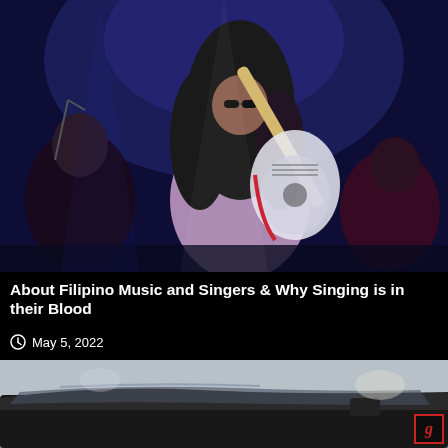[Figure (photo): Concert photo of a female guitarist with long curly hair playing a white electric guitar on stage, with blue stage lighting and other band members in background]
About Filipino Music and Singers & Why Singing is in their Blood
May 5, 2022
[Figure (photo): Partial photo showing a car interior/exterior with blurred background, cropped at bottom of page]